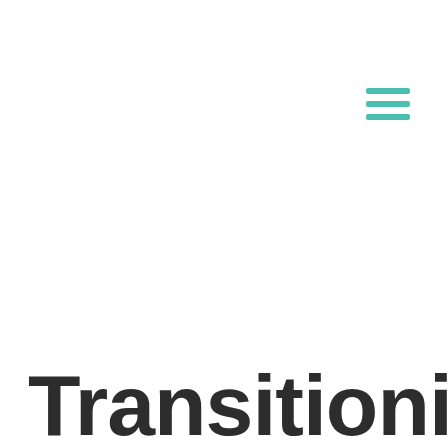[Figure (other): Hamburger menu icon with three teal/turquoise horizontal bars]
Transitioning